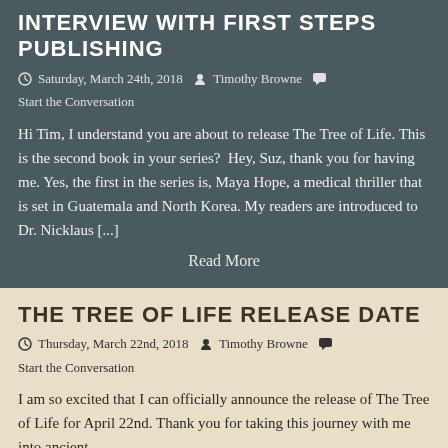INTERVIEW WITH FIRST STEPS PUBLISHING
Saturday, March 24th, 2018  Timothy Browne  Start the Conversation
Hi Tim, I understand you are about to release The Tree of Life. This is the second book in your series?  Hey, Suz, thank you for having me. Yes, the first in the series is, Maya Hope, a medical thriller that is set in Guatemala and North Korea. My readers are introduced to Dr. Nicklaus [...]
Read More
THE TREE OF LIFE RELEASE DATE
Thursday, March 22nd, 2018  Timothy Browne  Start the Conversation
I am so excited that I can officially announce the release of The Tree of Life for April 22nd. Thank you for taking this journey with me into ancient